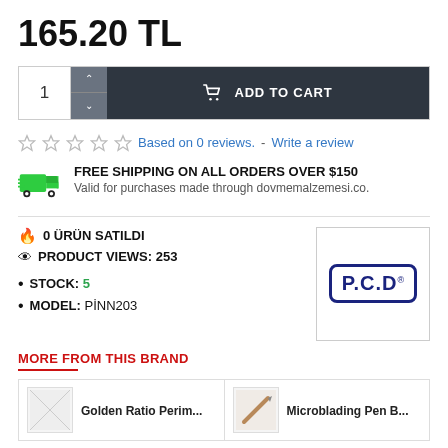165.20 TL
ADD TO CART (quantity: 1)
Based on 0 reviews. - Write a review
FREE SHIPPING ON ALL ORDERS OVER $150
Valid for purchases made through dovmemalzemesi.co.
0 ÜRÜN SATILDI
PRODUCT VIEWS: 253
STOCK: 5
MODEL: PİNN203
[Figure (logo): P.C.D brand logo in dark blue, rectangular with rounded corners border]
MORE FROM THIS BRAND
Golden Ratio Perim...
Microblading Pen B...